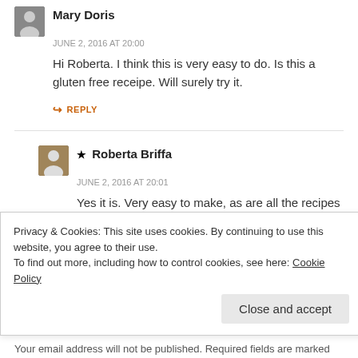Mary Doris
JUNE 2, 2016 AT 20:00
Hi Roberta. I think this is very easy to do. Is this a gluten free receipe. Will surely try it.
↪ REPLY
★ Roberta Briffa
JUNE 2, 2016 AT 20:01
Yes it is. Very easy to make, as are all the recipes I like! 🙂 Great for the summer too.
↪ REPLY
Privacy & Cookies: This site uses cookies. By continuing to use this website, you agree to their use.
To find out more, including how to control cookies, see here: Cookie Policy
Close and accept
Your email address will not be published. Required fields are marked